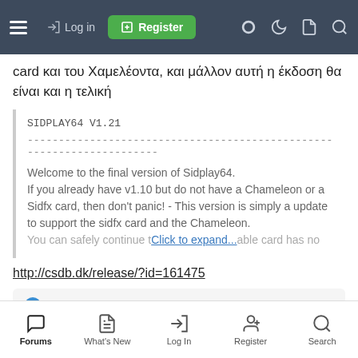Login | Register | (icons)
card και του Χαμελέοντα, και μάλλον αυτή η έκδοση θα είναι και η τελική
SIDPLAY64 V1.21
-------------------------------------------------------------------
Welcome to the final version of Sidplay64.
If you already have v1.10 but do not have a Chameleon or a Sidfx card, then don't panic! - This version is simply a update to support the sidfx card and the Chameleon.
You can safely continue to use your old sidfx card has no... Click to expand...
http://csdb.dk/release/?id=161475
Pluto63
Forums | What's New | Log In | Register | Search